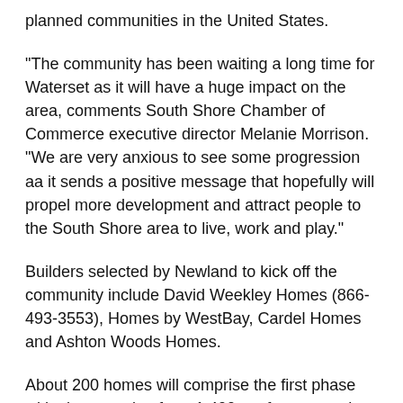planned communities in the United States.
“The community has been waiting a long time for Waterset as it will have a huge impact on the area, comments South Shore Chamber of Commerce executive director Melanie Morrison. “We are very anxious to see some progression aa it sends a positive message that hopefully will propel more development and attract people to the South Shore area to live, work and play.”
Builders selected by Newland to kick off the community include David Weekley Homes (866-493-3553), Homes by WestBay, Cardel Homes and Ashton Woods Homes.
About 200 homes will comprise the first phase with sizes ranging from 1,400 sq. ft. to more than 3,000 sq. ft. and pricing between $150,000 and $300,000.